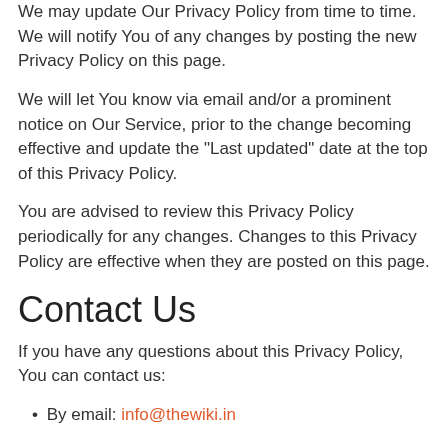We may update Our Privacy Policy from time to time. We will notify You of any changes by posting the new Privacy Policy on this page.
We will let You know via email and/or a prominent notice on Our Service, prior to the change becoming effective and update the "Last updated" date at the top of this Privacy Policy.
You are advised to review this Privacy Policy periodically for any changes. Changes to this Privacy Policy are effective when they are posted on this page.
Contact Us
If you have any questions about this Privacy Policy, You can contact us:
By email: info@thewiki.in